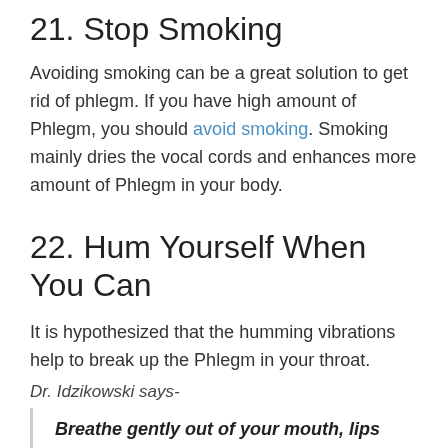21. Stop Smoking
Avoiding smoking can be a great solution to get rid of phlegm. If you have high amount of Phlegm, you should avoid smoking. Smoking mainly dries the vocal cords and enhances more amount of Phlegm in your body.
22. Hum Yourself When You Can
It is hypothesized that the humming vibrations help to break up the Phlegm in your throat.
Dr. Idzikowski says-
Breathe gently out of your mouth, lips together so you hum. Try to hum for the whole out-